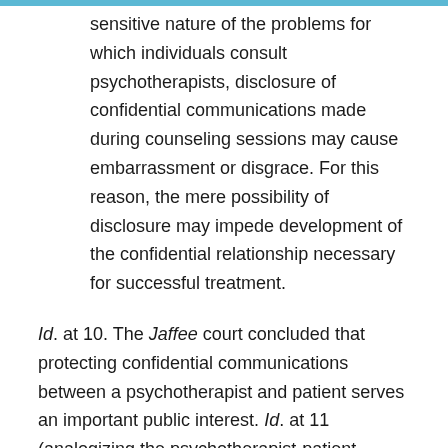sensitive nature of the problems for which individuals consult psychotherapists, disclosure of confidential communications made during counseling sessions may cause embarrassment or disgrace. For this reason, the mere possibility of disclosure may impede development of the confidential relationship necessary for successful treatment.
Id. at 10. The Jaffee court concluded that protecting confidential communications between a psychotherapist and patient serves an important public interest. Id. at 11 (analogizing the psychotherapist-patient privilege to other well-established privileges such as the attorney-client